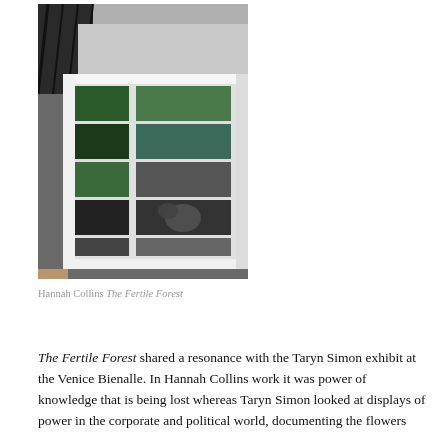[Figure (photo): Installation view of Hannah Collins' The Fertile Forest showing large photographs laid flat on a long white table or vitrine, with framed nature images visible, set in a gallery with wooden flooring. Overhead view shows a row of photographs under glass, depicting plant/forest imagery in color and black-and-white.]
Hannah Collins The Fertile Forest
The Fertile Forest shared a resonance with the Taryn Simon exhibit at the Venice Bienalle. In Hannah Collins work it was power of knowledge that is being lost whereas Taryn Simon looked at displays of power in the corporate and political world, documenting the flowers